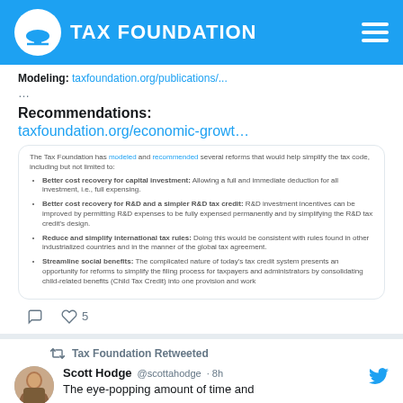TAX FOUNDATION
Modeling: taxfoundation.org/publications/...
...
Recommendations: taxfoundation.org/economic-growt…
[Figure (screenshot): Embedded card with Tax Foundation bullet points about reforms: Better cost recovery for capital investment, Better cost recovery for R&D and a simpler R&D tax credit, Reduce and simplify international tax rules, Streamline social benefits]
5
Tax Foundation Retweeted
Scott Hodge @scottahodge · 8h
The eye-popping amount of time and